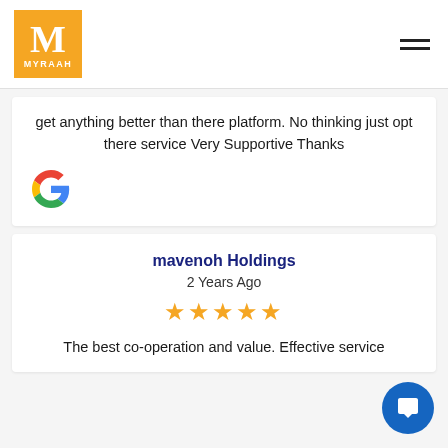[Figure (logo): Myraah logo: orange square with white M and MYRAAH text]
get anything better than there platform. No thinking just opt there service Very Supportive Thanks
[Figure (logo): Google G logo]
mavenoh Holdings
2 Years Ago
[Figure (infographic): 5 orange star rating]
The best co-operation and value. Effective service